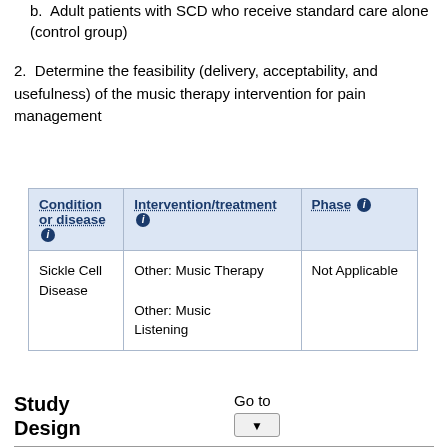b. Adult patients with SCD who receive standard care alone (control group)
2. Determine the feasibility (delivery, acceptability, and usefulness) of the music therapy intervention for pain management
| Condition or disease | Intervention/treatment | Phase |
| --- | --- | --- |
| Sickle Cell Disease | Other: Music Therapy
Other: Music Listening | Not Applicable |
Study Design
Go to